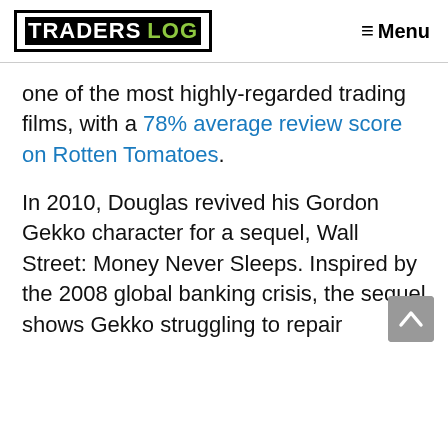TRADERSLOG   ≡ Menu
one of the most highly-regarded trading films, with a 78% average review score on Rotten Tomatoes.
In 2010, Douglas revived his Gordon Gekko character for a sequel, Wall Street: Money Never Sleeps. Inspired by the 2008 global banking crisis, the sequel shows Gekko struggling to repair relationships with his family after